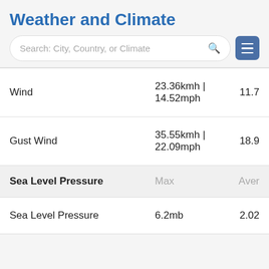Weather and Climate
[Figure (screenshot): Search bar with placeholder text 'Search: City, Country, or Climate' and a hamburger menu icon]
|  |  |  |
| --- | --- | --- |
| Wind | 23.36kmh | 14.52mph | 11.7 |
| Gust Wind | 35.55kmh | 22.09mph | 18.9 |
| Sea Level Pressure | Max | Aver |
| Sea Level Pressure | 6.2mb | 2.02 |
January 2014 Graph